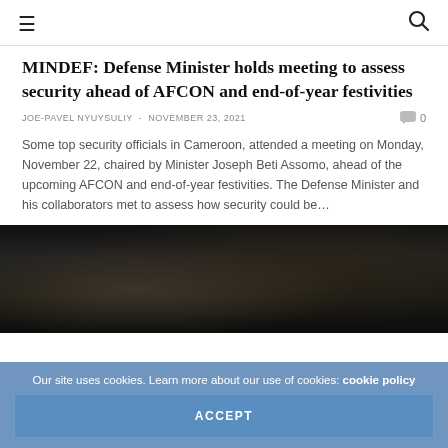≡  🔍
MINDEF: Defense Minister holds meeting to assess security ahead of AFCON and end-of-year festivities
JOE-PAVEL NYUYSULIY  -  NOVEMBER 23, 2021   0
Some top security officials in Cameroon, attended a meeting on Monday, November 22, chaired by Minister Joseph Beti Assomo, ahead of the upcoming AFCON and end-of-year festivities. The Defense Minister and his collaborators met to assess how security could be…
[Figure (photo): Dark/low-light photograph, largely dark background with very faint shapes visible]
Our site uses cookies. Learn more about our use of cookies: cookie policy
ACCEPT